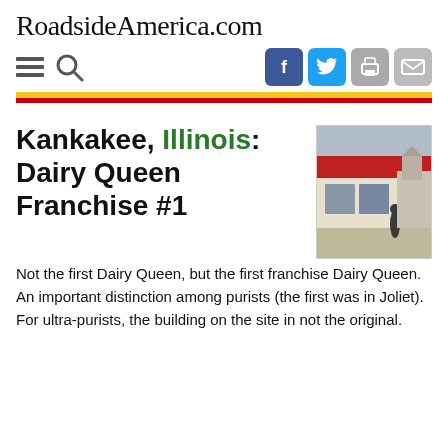RoadsideAmerica.com
Kankakee, Illinois: Dairy Queen Franchise #1
[Figure (photo): Exterior photo of a Dairy Queen restaurant with red awning/roof trim, a parking lot, and a person standing outside. Overcast sky in background.]
Not the first Dairy Queen, but the first franchise Dairy Queen. An important distinction among purists (the first was in Joliet). For ultra-purists, the building on the site in not the original.